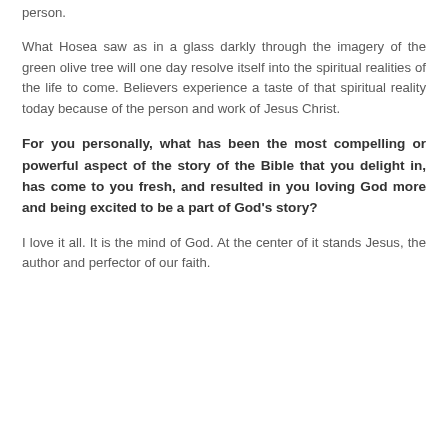person.
What Hosea saw as in a glass darkly through the imagery of the green olive tree will one day resolve itself into the spiritual realities of the life to come. Believers experience a taste of that spiritual reality today because of the person and work of Jesus Christ.
For you personally, what has been the most compelling or powerful aspect of the story of the Bible that you delight in, has come to you fresh, and resulted in you loving God more and being excited to be a part of God's story?
I love it all. It is the mind of God. At the center of it stands Jesus, the author and perfector of our faith.